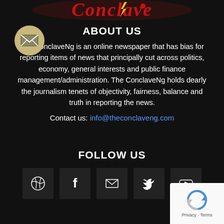[Figure (logo): Conclave logo - red stylized text with lightning bolt motif at top of page]
ABOUT US
The ConclaveNg is an online newspaper that has bias for reporting items of news that principally cut across politics, economy, general interests and public finance management/administration. The ConclaveNg holds dearly the journalism tenets of objectivity, fairness, balance and truth in reporting the news.
Contact us: info@theconclaveng.com
FOLLOW US
[Figure (illustration): Row of 5 social media icon buttons (Dribbble, Facebook, Email/Envelope, Twitter, YouTube) on dark background boxes]
[Figure (other): reCAPTCHA badge - Privacy Terms in bottom right corner]